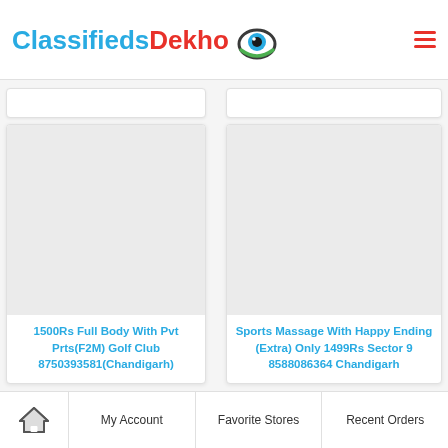ClassifiedsDekho
1500Rs Full Body With Pvt Prts(F2M) Golf Club 8750393581(Chandigarh)
Sports Massage With Happy Ending (Extra) Only 1499Rs Sector 9 8588086364 Chandigarh
Home | My Account | Favorite Stores | Recent Orders